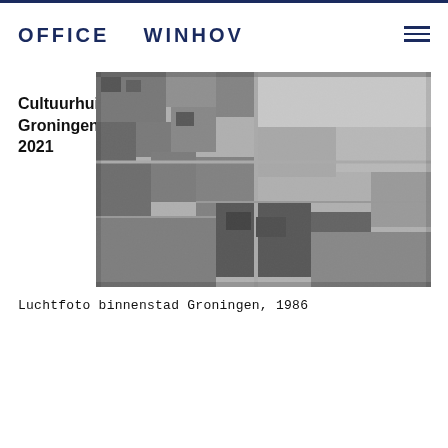OFFICE   WINHOV
Cultuurhuis Vrijdag
Groningen, Nederland
2021
[Figure (photo): Aerial black-and-white photograph of the city center of Groningen, Netherlands, 1986. Shows dense urban fabric with historic buildings, a large market square, streets, and rooftops from above.]
Luchtfoto binnenstad Groningen, 1986